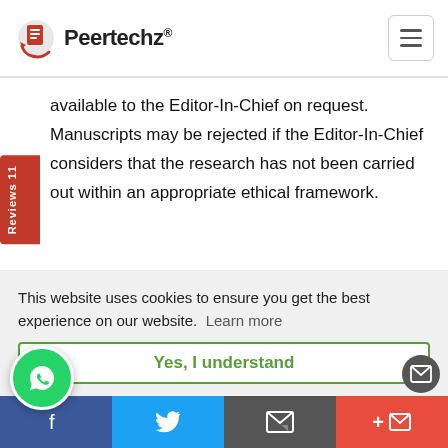Peertechz®
available to the Editor-In-Chief on request. Manuscripts may be rejected if the Editor-In-Chief considers that the research has not been carried out within an appropriate ethical framework.
4. Authors reporting the use of a new procedure or tool in a clinical setting, for example as a technical advance or case report, must give a clear justification in the manuscript for that...
This website uses cookies to ensure you get the best experience on our website.  Learn more
Yes, I understand